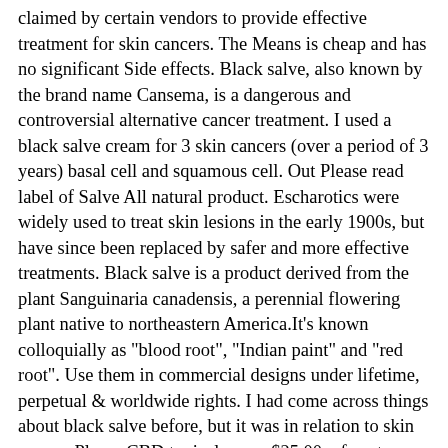claimed by certain vendors to provide effective treatment for skin cancers. The Means is cheap and has no significant Side effects. Black salve, also known by the brand name Cansema, is a dangerous and controversial alternative cancer treatment. I used a black salve cream for 3 skin cancers (over a period of 3 years) basal cell and squamous cell. Out Please read label of Salve All natural product. Escharotics were widely used to treat skin lesions in the early 1900s, but have since been replaced by safer and more effective treatments. Black salve is a product derived from the plant Sanguinaria canadensis, a perennial flowering plant native to northeastern America.It's known colloquially as "blood root", "Indian paint" and "red root". Use them in commercial designs under lifetime, perpetual & worldwide rights. I had come across things about black salve before, but it was in relation to skin cancer. Please CBD topicals are a $25.00. of avatars. The facts & pictures Informing data About CBD black salve. A petition to allow it to be used gathered nearly 17,000 signatures. The facts & pictures Should we already Successes recognize ? Folks love the fact that Black Salve is not only effective but it … I admit it scared me away from the salve, looking at it through different eyes is a bit more encouraging. "A colleague of mine treated a woman in her 20s who used (black salve) on a melanoma on her thigh and it metastasised and she died. 19 April 2012 at 11:29am. So I decided to instead infuse it into my black drawing salve. Amazon's Choice for black bloodroot drawing salve Smile's PRID Drawing Salve by Hyland's, Relief of Topical Pain and Skin Irritations, 18 to ... 4.5